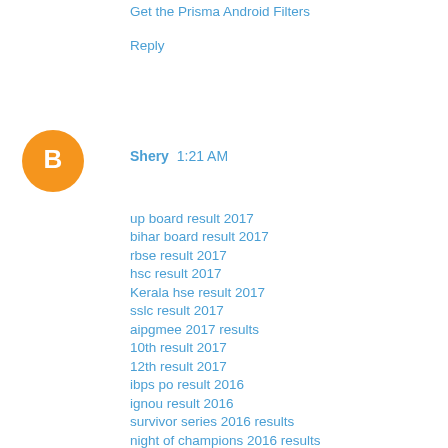Get the Prisma Android Filters
Reply
Shery  1:21 AM
up board result 2017
bihar board result 2017
rbse result 2017
hsc result 2017
Kerala hse result 2017
sslc result 2017
aipgmee 2017 results
10th result 2017
12th result 2017
ibps po result 2016
ignou result 2016
survivor series 2016 results
night of champions 2016 results
tlc 2016 results
hell in a cell 2016 results
spiderman homecoming
iphone 7 price in india